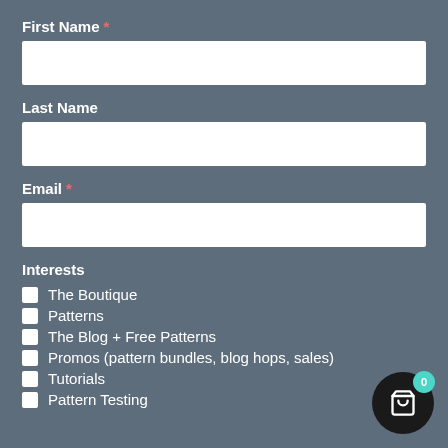First Name *
Last Name
Email *
Interests
The Boutique
Patterns
The Blog + Free Patterns
Promos (pattern bundles, blog hops, sales)
Tutorials
Pattern Testing